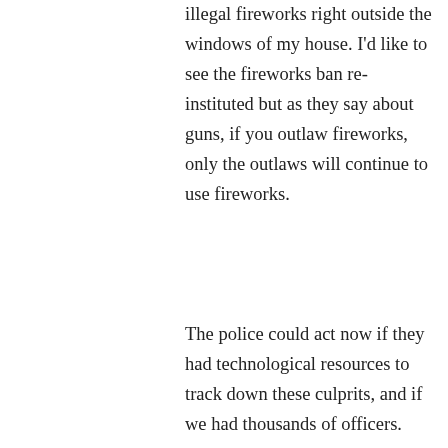illegal fireworks right outside the windows of my house. I’d like to see the fireworks ban re-instituted but as they say about guns, if you outlaw fireworks, only the outlaws will continue to use fireworks.
The police could act now if they had technological resources to track down these culprits, and if we had thousands of officers.
★ Like
↵ Reply
Big Paddle on July 6, 2015 at 2:53 am
I did not vote in favor of the sale of “safe and sane” fireworks in Fullerton. However, that being said, I wonder if the police department, fire